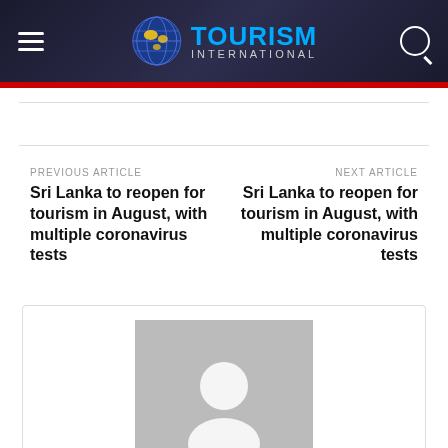Tourism International
PREVIOUS ARTICLE
Sri Lanka to reopen for tourism in August, with multiple coronavirus tests
NEXT ARTICLE
Sri Lanka to reopen for tourism in August, with multiple coronavirus tests
[Figure (illustration): Generic user avatar placeholder — grey square with white silhouette of a person]
Reporter
https://thetourisminternational.com/